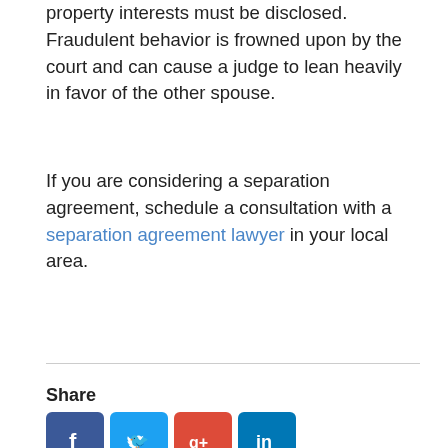property interests must be disclosed. Fraudulent behavior is frowned upon by the court and can cause a judge to lean heavily in favor of the other spouse.
If you are considering a separation agreement, schedule a consultation with a separation agreement lawyer in your local area.
Share
[Figure (other): Social media share icons: Facebook, Twitter, Google+, LinkedIn]
What's Your Legal Status After an Accident?
What's Your Legal Status After an Accident?